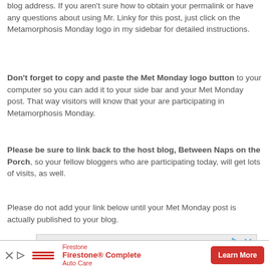blog address. If you aren't sure how to obtain your permalink or have any questions about using Mr. Linky for this post, just click on the Metamorphosis Monday logo in my sidebar for detailed instructions.
Don't forget to copy and paste the Met Monday logo button to your computer so you can add it to your side bar and your Met Monday post. That way visitors will know that your are participating in Metamorphosis Monday.
Please be sure to link back to the host blog, Between Naps on the Porch, so your fellow bloggers who are participating today, will get lots of visits, as well.
Please do not add your link below until your Met Monday post is actually published to your blog.
[Figure (other): Advertisement banner with light gray background and small navigation icons (play and close buttons) in the top right corner.]
[Figure (other): Firestone Complete Auto Care advertisement with red Firestone logo and text, and a red Learn More button.]